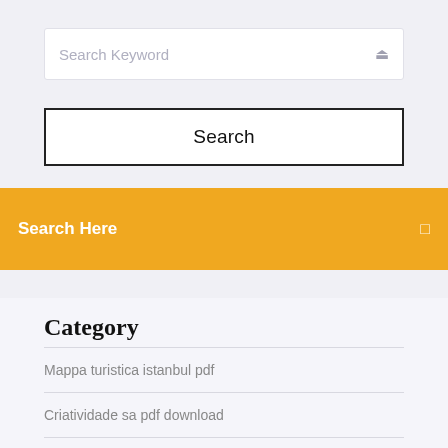[Figure (screenshot): Search input field with placeholder text 'Search Keyword' and a search icon on the right]
[Figure (screenshot): Search button with black border and 'Search' label]
[Figure (screenshot): Orange banner bar with white text 'Search Here' and a small icon on the right]
Category
Mappa turistica istanbul pdf
Criatividade sa pdf download
4 puntos cardinales en ingles y español